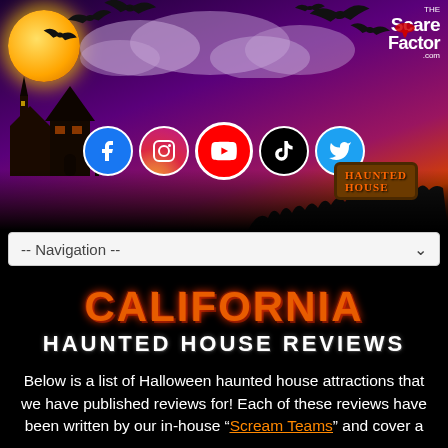[Figure (illustration): Halloween-themed header banner with purple/orange sky, haunted house silhouette, moon, bats, social media icons (Facebook, Instagram, YouTube, TikTok, Twitter), a 'Haunted House' wooden sign, and The Scare Factor logo in top right.]
-- Navigation --
CALIFORNIA
HAUNTED HOUSE REVIEWS
Below is a list of Halloween haunted house attractions that we have published reviews for! Each of these reviews have been written by our in-house “Scream Teams” and cover a